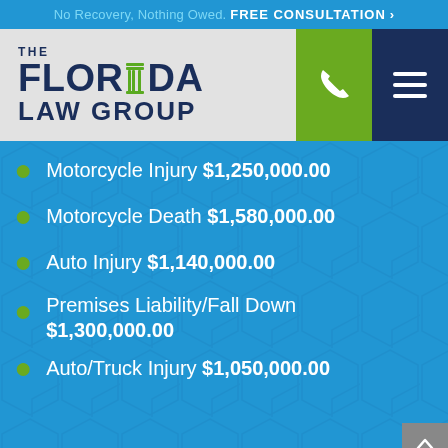No Recovery, Nothing Owed. FREE CONSULTATION >
[Figure (logo): The Florida Law Group logo with phone and menu icons]
Motorcycle Injury $1,250,000.00
Motorcycle Death $1,580,000.00
Auto Injury $1,140,000.00
Premises Liability/Fall Down $1,300,000.00
Auto/Truck Injury $1,050,000.00